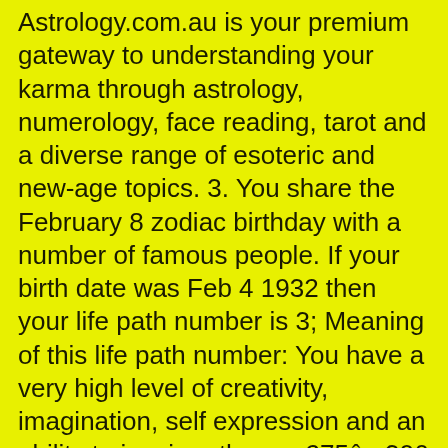Astrology.com.au is your premium gateway to understanding your karma through astrology, numerology, face reading, tarot and a diverse range of esoteric and new-age topics. 3. You share the February 8 zodiac birthday with a number of famous people. If your birth date was Feb 4 1932 then your life path number is 3; Meaning of this life path number: You have a very high level of creativity, imagination, self expression and an ability to inspire others. : 275â306 Translations and interpretations of the passage in Exodus regarding the â¦ The Air Signs, namely Gemini, Libra and Aquarius are very chilled out and light-hearted folks, and do not like getting worked up about things. The Chinese New Year of 2021 falls on February 12. They feel that their creative instincts in of themselves will propel them to where they need to go. Close. His sisters make rain when they weep for him, hence the sign has an association with air. The 4 February birthdate astrology analysis shows that you are extremely disciplined and will not